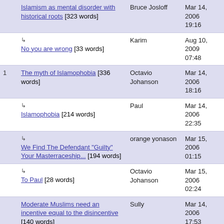|  | Title | Author | Date |
| --- | --- | --- | --- |
|  | Islamism as mental disorder with historical roots [323 words] | Bruce Josloff | Mar 14, 2006 19:16 |
|  | ↳ No you are wrong [33 words] | Karim | Aug 10, 2009 07:48 |
| 1 | The myth of Islamophobia [336 words] | Octavio Johanson | Mar 14, 2006 18:16 |
|  | ↳ Islamophobia [214 words] | Paul | Mar 14, 2006 22:35 |
|  | ↳ We Find The Defendant "Guilty" Your Masterraceship... [194 words] | orange yonason | Mar 15, 2006 01:15 |
|  | ↳ To Paul [28 words] | Octavio Johanson | Mar 15, 2006 02:24 |
|  | Moderate Muslims need an incentive equal to the disincentive [140 words] | Sully | Mar 14, 2006 17:53 |
|  | Growing anti-Muslim Sentiment in US [208 words] | William Robert Jack | Mar 14, 2006 17:52 |